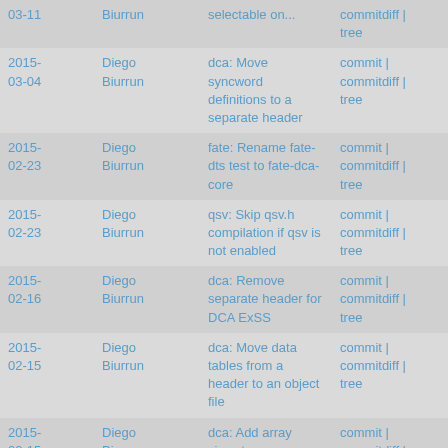| Date | Author | Message | Links |
| --- | --- | --- | --- |
| 2015-03-11 | Diego Biurrun | selectable on... | commitdiff | tree |
| 2015-03-04 | Diego Biurrun | dca: Move syncword definitions to a separate header | commit | commitdiff | tree |
| 2015-02-23 | Diego Biurrun | fate: Rename fate-dts test to fate-dca-core | commit | commitdiff | tree |
| 2015-02-23 | Diego Biurrun | qsv: Skip qsv.h compilation if qsv is not enabled | commit | commitdiff | tree |
| 2015-02-16 | Diego Biurrun | dca: Remove separate header for DCA ExSS | commit | commitdiff | tree |
| 2015-02-15 | Diego Biurrun | dca: Move data tables from a header to an object file | commit | commitdiff | tree |
| 2015-02-15 | Diego Biurrun | dca: Add array sizes to array declarations | commit | commitdiff | tree |
| 2015- | Diego | vdpau: Adjust necessary #includes for | commit | |